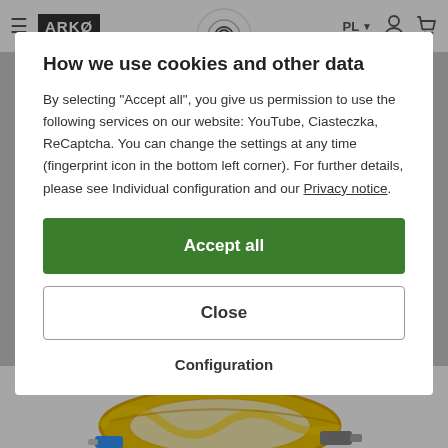[Figure (screenshot): Website navbar with hamburger menu, ARKO logo, fingerprint icon center, PL language selector, user icon, cart icon]
How we use cookies and other data
By selecting "Accept all", you give us permission to use the following services on our website: YouTube, Ciasteczka, ReCaptcha. You can change the settings at any time (fingerprint icon in the bottom left corner). For further details, please see Individual configuration and our Privacy notice.
Accept all
Close
Configuration
[Figure (photo): Yellow fiber optic cable coil with blue and gray connectors at bottom of page]